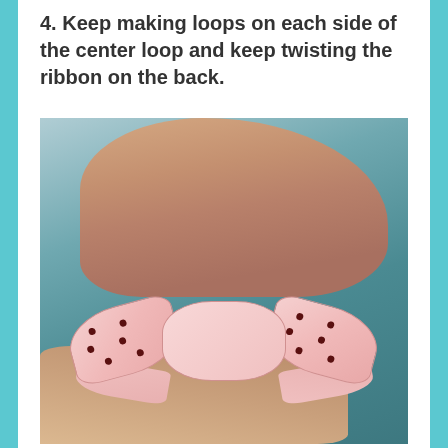4. Keep making loops on each side of the center loop and keep twisting the ribbon on the back.
[Figure (photo): Hands holding a pink polka-dot ribbon being formed into a bow, photographed against a teal/blue background with figurines visible in upper right corner.]